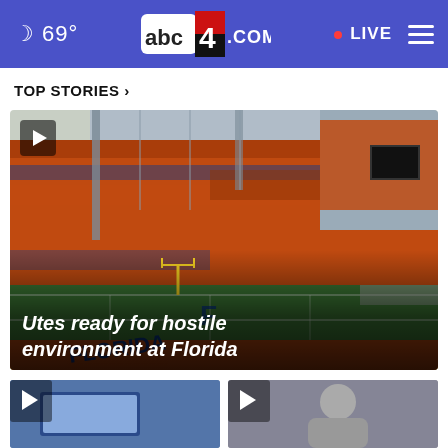🌙 69° abc4.com LIVE ☰
TOP STORIES ›
[Figure (photo): Aerial view of Florida Gators football stadium packed with fans in orange, with green field and end zone visible. Play button icon in top-left corner. Headline overlay at bottom reads 'Utes ready for hostile environment at Florida'.]
[Figure (photo): Small thumbnail image, left side, appears to be a screen or computer display.]
[Figure (photo): Small thumbnail image, right side, appears to show a person or athlete.]